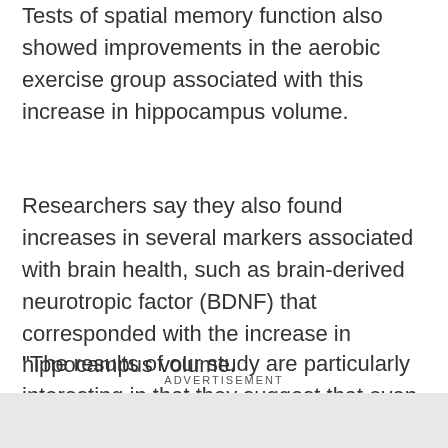Tests of spatial memory function also showed improvements in the aerobic exercise group associated with this increase in hippocampus volume.
Researchers say they also found increases in several markers associated with brain health, such as brain-derived neurotropic factor (BDNF) that corresponded with the increase in hippocampus volume.
"The results of our study are particularly interesting in that they suggest that even modest amounts of exercise by sedentary older adults can lead to substantial improvements in memory and brain health," says researcher Art Kramer, director of the Beckman Institute at
ADVERTISEMENT